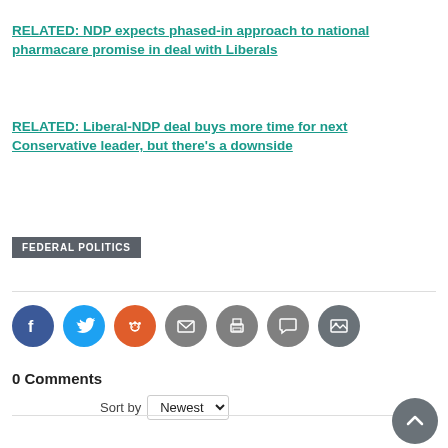RELATED: NDP expects phased-in approach to national pharmacare promise in deal with Liberals
RELATED: Liberal-NDP deal buys more time for next Conservative leader, but there's a downside
FEDERAL POLITICS
[Figure (infographic): Social sharing icons: Facebook (blue circle), Twitter (light blue circle), Reddit (orange circle), Email (grey circle), Print (grey circle), Comments (grey circle), Image (dark grey circle)]
0 Comments
Sort by Newest
[Figure (screenshot): Add a comment text input box and partial advertisement banner for an open house event on September 11th, 10am-4:00pm, showing a vintage car]